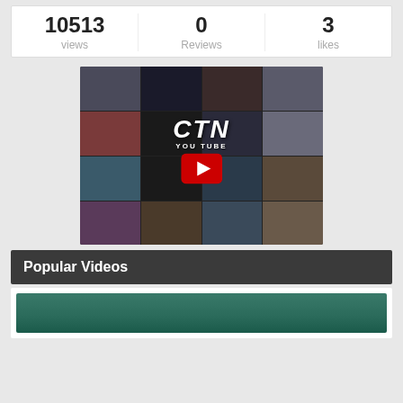10513 views | 0 Reviews | 3 likes
[Figure (photo): CTN YouTube channel collage of event photos with YouTube play button overlay and 'CTN YOU TUBE' text]
Popular Videos
[Figure (photo): Video preview thumbnail showing a green/teal scene]